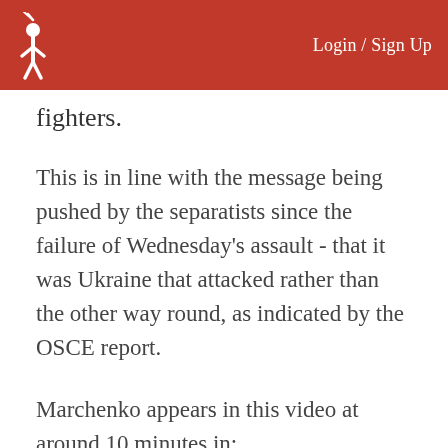Login / Sign Up
fighters.
This is in line with the message being pushed by the separatists since the failure of Wednesday's assault - that it was Ukraine that attacked rather than the other way round, as indicated by the OSCE report.
Marchenko appears in this video at around 10 minutes in: